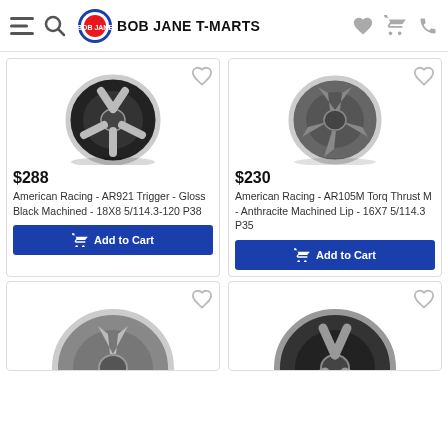Bob Jane T-Marts
[Figure (photo): American Racing AR921 Trigger wheel - Gloss Black Machined]
$288
American Racing - AR921 Trigger - Gloss Black Machined - 18X8 5/114.3-120 P38
[Figure (photo): American Racing AR105M Torq Thrust M wheel - Anthracite Machined Lip]
$230
American Racing - AR105M Torq Thrust M - Anthracite Machined Lip - 16X7 5/114.3 P35
[Figure (photo): Wheel product photo - partial view bottom left]
[Figure (photo): Wheel product photo - partial view bottom right]